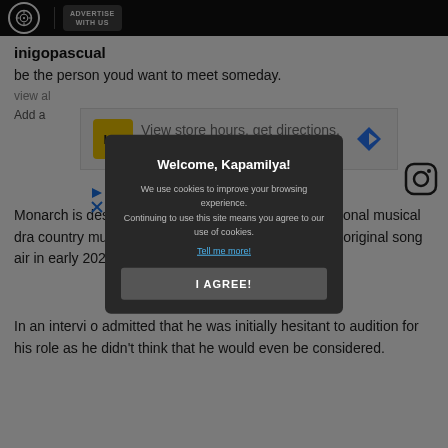ADVERTISE WITH US
inigopascual
be the person youd want to meet someday.
view al
Add a
[Figure (infographic): Advertisement banner for HC (Hair Club) salon: 'View store hours, get directions, or call your salon!' with a navigation arrow icon and Instagram icon]
Monarch is described as a Texas-sized, multigenerational musical dra country music—the nated Survivor sho ill feature original song air in early 2022.
[Figure (infographic): Cookie consent modal popup with dark background: 'Welcome, Kapamilya!' title, cookie usage text, 'Tell me more!' link, and 'I AGREE!' button]
In an intervi o admitted that he was initially hesitant to audition for his role as he didn't think that he would even be considered.